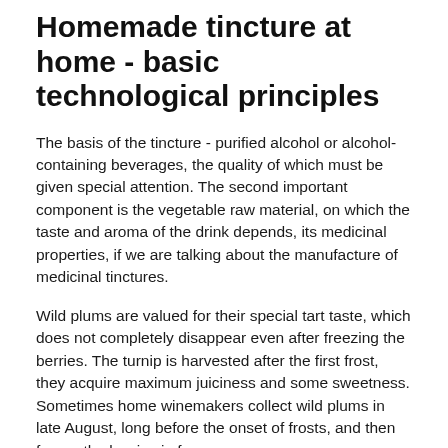Homemade tincture at home - basic technological principles
The basis of the tincture - purified alcohol or alcohol-containing beverages, the quality of which must be given special attention. The second important component is the vegetable raw material, on which the taste and aroma of the drink depends, its medicinal properties, if we are talking about the manufacture of medicinal tinctures.
Wild plums are valued for their special tart taste, which does not completely disappear even after freezing the berries. The turnip is harvested after the first frost, they acquire maximum juiciness and some sweetness. Sometimes home winemakers collect wild plums in late August, long before the onset of frosts, and then freeze the berries in freezers.
The turnip is used to make tinctures, mainly in combination with other fruits, herbs and spices. In combination with honey,